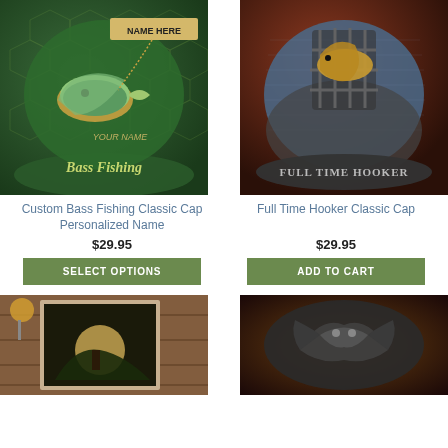[Figure (photo): Custom Bass Fishing Classic Cap with green camo pattern, bass fish graphic, 'Bass Fishing' text, and 'NAME HERE / YOUR NAME' label]
Custom Bass Fishing Classic Cap Personalized Name
$29.95
SELECT OPTIONS
[Figure (photo): Full Time Hooker Classic Cap with blue/grey denim look, fish breaking through cage graphic, 'FULL TIME HOOKER' text on brim]
Full Time Hooker Classic Cap
$29.95
ADD TO CART
[Figure (photo): Partial product image bottom left — framed art or canvas with hunting/nature scene with warm glowing light]
[Figure (photo): Partial product image bottom right — dark fishing cap with eagle or bird graphic]